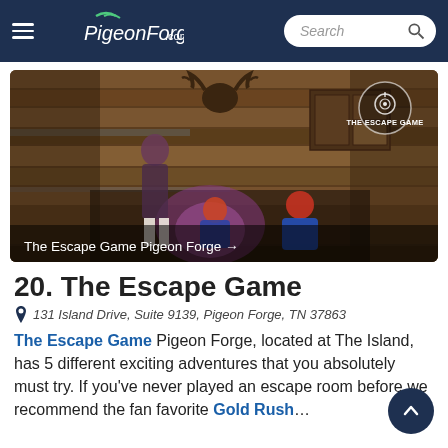PigeonForge.com — Search bar
[Figure (photo): Interior of a rustic log cabin escape room with wood-plank walls, a deer head mount, and players working on puzzles. 'The Escape Game' logo in top-right corner.]
The Escape Game Pigeon Forge →
20. The Escape Game
131 Island Drive, Suite 9139, Pigeon Forge, TN 37863
The Escape Game Pigeon Forge, located at The Island, has 5 different exciting adventures that you absolutely must try. If you've never played an escape room before we recommend the fan favorite Gold Rush…